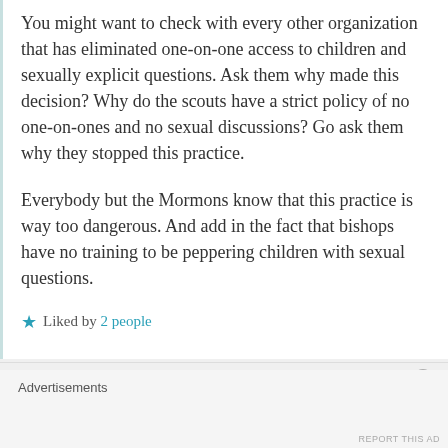You might want to check with every other organization that has eliminated one-on-one access to children and sexually explicit questions. Ask them why made this decision? Why do the scouts have a strict policy of no one-on-ones and no sexual discussions? Go ask them why they stopped this practice.
Everybody but the Mormons know that this practice is way too dangerous. And add in the fact that bishops have no training to be peppering children with sexual questions.
Liked by 2 people
Advertisements